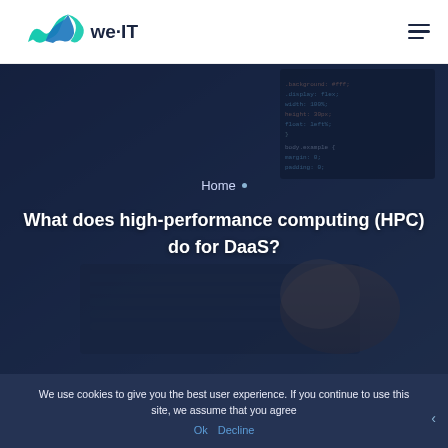[Figure (logo): we·IT company logo with teal/blue wave icon and dark text]
[Figure (photo): Person typing on laptop with code visible on screen, dark blue overlay]
Home
What does high-performance computing (HPC) do for DaaS?
We use cookies to give you the best user experience. If you continue to use this site, we assume that you agree
Ok   Decline